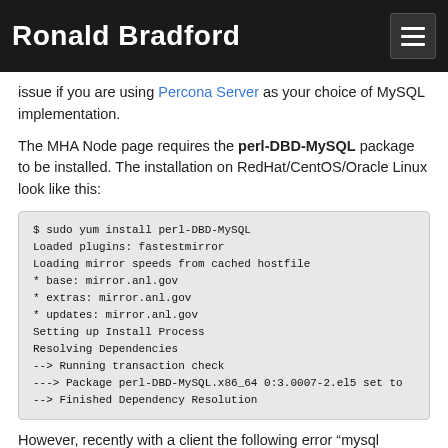Ronald Bradford
issue if you are using Percona Server as your choice of MySQL implementation.
The MHA Node page requires the perl-DBD-MySQL package to be installed. The installation on RedHat/CentOS/Oracle Linux look like this:
$ sudo yum install perl-DBD-MySQL
Loaded plugins: fastestmirror
Loading mirror speeds from cached hostfile
* base: mirror.anl.gov
* extras: mirror.anl.gov
* updates: mirror.anl.gov
Setting up Install Process
Resolving Dependencies
--> Running transaction check
---> Package perl-DBD-MySQL.x86_64 0:3.0007-2.el5 set to
--> Finished Dependency Resolution
However, recently with a client the following error “mysql conflicts with Percona-Server” occurred.
$ sudo yum install perl-DBD-MySQL
Loaded plugins: fastestmirror